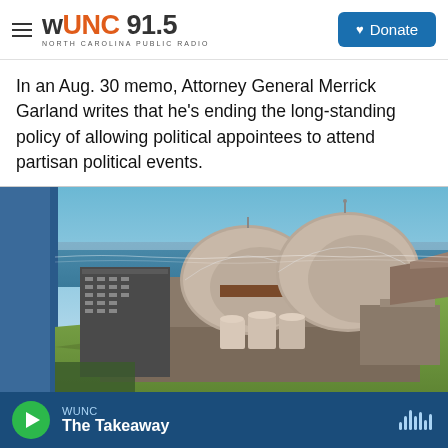WUNC 91.5 NORTH CAROLINA PUBLIC RADIO | Donate
In an Aug. 30 memo, Attorney General Merrick Garland writes that he's ending the long-standing policy of allowing political appointees to attend partisan political events.
[Figure (photo): Aerial view of a coastal nuclear power plant with two large dome-shaped reactor buildings, surrounded by industrial structures, cylindrical tanks, and coastal cliffs overlooking the ocean.]
WUNC | The Takeaway